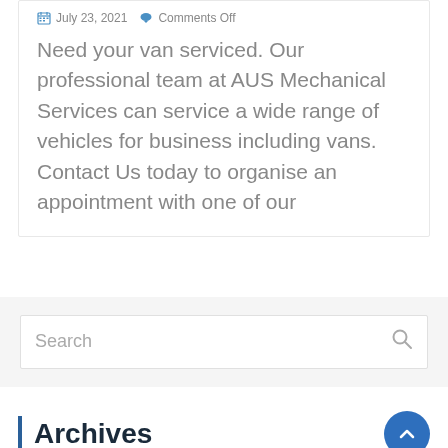July 23, 2021  Comments Off
Need your van serviced. Our professional team at AUS Mechanical Services can service a wide range of vehicles for business including vans. Contact Us today to organise an appointment with one of our
Search
Archives
July 2021